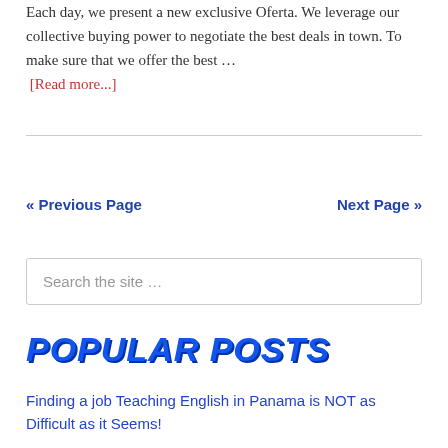Each day, we present a new exclusive Oferta. We leverage our collective buying power to negotiate the best deals in town. To make sure that we offer the best … [Read more...]
« Previous Page   Next Page »
Search the site …
POPULAR POSTS
Finding a job Teaching English in Panama is NOT as Difficult as it Seems!